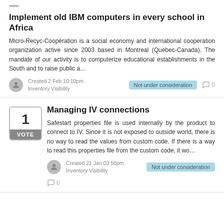Implement old IBM computers in every school in Africa
Micro-Recyc-Coopération is a social economy and international cooperation organization active since 2003 based in Montreal (Quebec-Canada). The mandate of our activity is to computerize educational establishments in the South and to raise public a…
Created 2 Feb 10:10pm
Inventory Visibility
Not under consideration
0
Managing IV connections
Safestart properties file is used internally by the product to connect to IV. Since it is not exposed to outside world, there is no way to read the values from custom code. If there is a way to read this properties file from the custom code, it wo…
Created 21 Jan 03:56pm
Inventory Visibility
Not under consideration
0